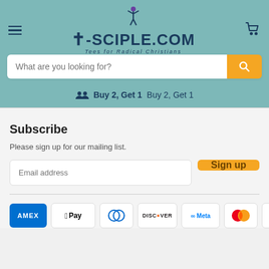[Figure (screenshot): T-SCIPLE.COM website header with hamburger menu, logo with cross icon, cart icon, tagline 'Tees for Radical Christians']
What are you looking for?
Buy 2, Get 1  Buy 2, Get 1
Subscribe
Please sign up for our mailing list.
Email address
Sign up
[Figure (other): Payment method icons: AMEX, Apple Pay, Diners Club, Discover, Meta Pay, Mastercard, PayPal]